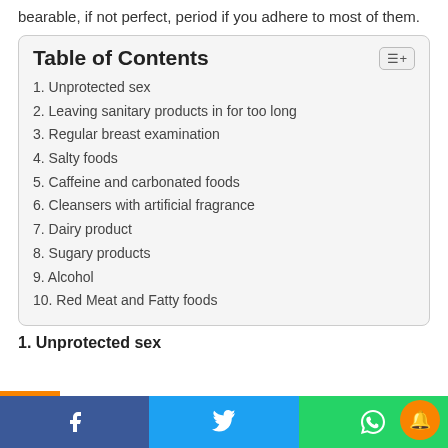bearable, if not perfect, period if you adhere to most of them.
1. Unprotected sex
2. Leaving sanitary products in for too long
3. Regular breast examination
4. Salty foods
5. Caffeine and carbonated foods
6. Cleansers with artificial fragrance
7. Dairy product
8. Sugary products
9. Alcohol
10. Red Meat and Fatty foods
1. Unprotected sex